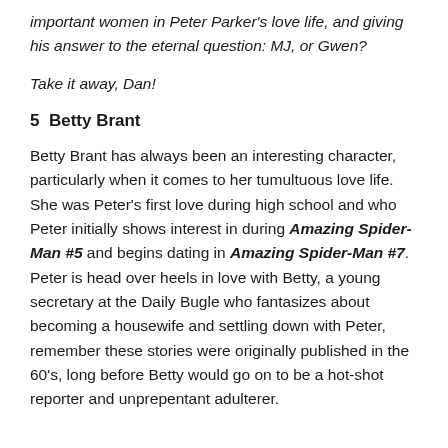important women in Peter Parker's love life, and giving his answer to the eternal question: MJ, or Gwen?
Take it away, Dan!
5  Betty Brant
Betty Brant has always been an interesting character, particularly when it comes to her tumultuous love life. She was Peter's first love during high school and who Peter initially shows interest in during Amazing Spider-Man #5 and begins dating in Amazing Spider-Man #7. Peter is head over heels in love with Betty, a young secretary at the Daily Bugle who fantasizes about becoming a housewife and settling down with Peter, remember these stories were originally published in the 60's, long before Betty would go on to be a hot-shot reporter and unprepentant adulterer.